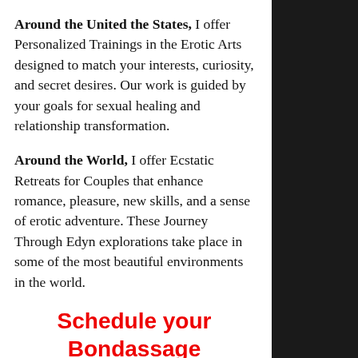Around the United the States, I offer Personalized Trainings in the Erotic Arts designed to match your interests, curiosity, and secret desires. Our work is guided by your goals for sexual healing and relationship transformation.
Around the World, I offer Ecstatic Retreats for Couples that enhance romance, pleasure, new skills, and a sense of erotic adventure. These Journey Through Edyn explorations take place in some of the most beautiful environments in the world.
Schedule your Bondassage For Couples Coaching today